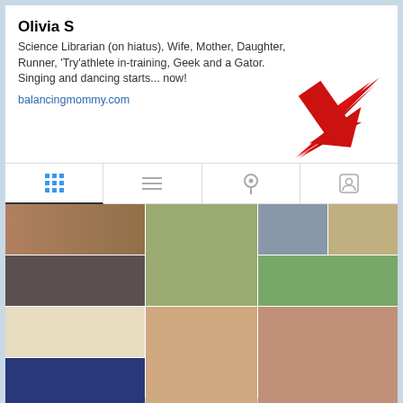Olivia S
Science Librarian (on hiatus), Wife, Mother, Daughter, Runner, 'Try'athlete in-training, Geek and a Gator. Singing and dancing starts... now!
balancingmommy.com
[Figure (screenshot): Instagram profile page screenshot showing Olivia S's bio and photo grid with running, family, and fitness photos. A red arrow SVG annotation points to the website link area. Navigation tabs include grid, list, location, and tagged views.]